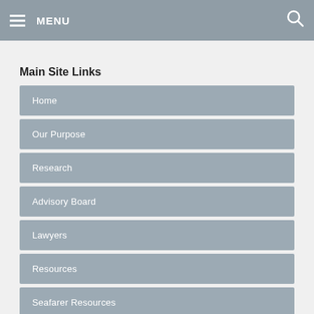MENU
Main Site Links
Home
Our Purpose
Research
Advisory Board
Lawyers
Resources
Seafarer Resources
SRI Bespoke
Press